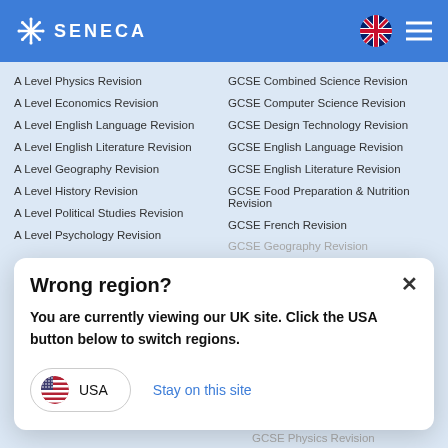SENECA
A Level Physics Revision
A Level Economics Revision
A Level English Language Revision
A Level English Literature Revision
A Level Geography Revision
A Level History Revision
A Level Political Studies Revision
A Level Psychology Revision
GCSE Combined Science Revision
GCSE Computer Science Revision
GCSE Design Technology Revision
GCSE English Language Revision
GCSE English Literature Revision
GCSE Food Preparation & Nutrition Revision
GCSE French Revision
GCSE Geography Revision
Wrong region?
You are currently viewing our UK site. Click the USA button below to switch regions.
USA
Stay on this site
GCSE Physics Revision